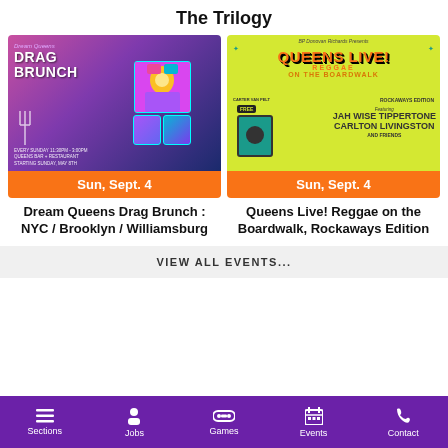The Trilogy
[Figure (photo): Event poster for Dream Queens Drag Brunch NYC / Brooklyn / Williamsburg with performers in colorful drag costumes against a purple-pink gradient background]
Sun, Sept. 4
[Figure (photo): Event poster for Queens Live! Reggae on the Boardwalk, Rockaways Edition featuring Jah Wise Tippertone, Carlton Livingston and Friends on a yellow-green background]
Sun, Sept. 4
Dream Queens Drag Brunch : NYC / Brooklyn / Williamsburg
Queens Live! Reggae on the Boardwalk, Rockaways Edition
VIEW ALL EVENTS...
Sections   Jobs   Games   Events   Contact